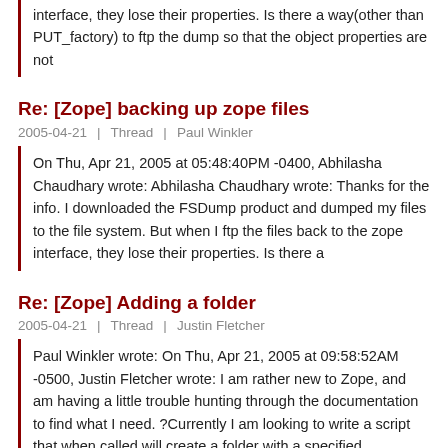interface, they lose their properties. Is there a way(other than PUT_factory) to ftp the dump so that the object properties are not
Re: [Zope] backing up zope files
2005-04-21  |  Thread  |  Paul Winkler
On Thu, Apr 21, 2005 at 05:48:40PM -0400, Abhilasha Chaudhary wrote: Abhilasha Chaudhary wrote: Thanks for the info. I downloaded the FSDump product and dumped my files to the file system. But when I ftp the files back to the zope interface, they lose their properties. Is there a
Re: [Zope] Adding a folder
2005-04-21  |  Thread  |  Justin Fletcher
Paul Winkler wrote: On Thu, Apr 21, 2005 at 09:58:52AM -0500, Justin Fletcher wrote: I am rather new to Zope, and am having a little trouble hunting through the documentation to find what I need. ?Currently I am looking to write a script that when called will create a folder with a specified
[Zope] index.html in Python Script?
2005-04-21  |  Thread  |  Erik Myllymaki
I use bol/zope ZPT with some code like in desktop items...